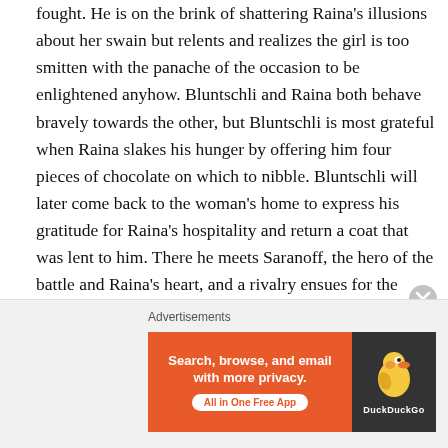fought. He is on the brink of shattering Raina's illusions about her swain but relents and realizes the girl is too smitten with the panache of the occasion to be enlightened anyhow. Bluntschli and Raina both behave bravely towards the other, but Bluntschli is most grateful when Raina slakes his hunger by offering him four pieces of chocolate on which to nibble. Bluntschli will later come back to the woman's home to express his gratitude for Raina's hospitality and return a coat that was lent to him. There he meets Saranoff, the hero of the battle and Raina's heart, and a rivalry ensues for the lady's hand while practical matters of war and its aftermath are being discussed.
[Figure (other): DuckDuckGo advertisement banner: orange background with text 'Search, browse, and email with more privacy. All in One Free App' and DuckDuckGo logo on dark right panel.]